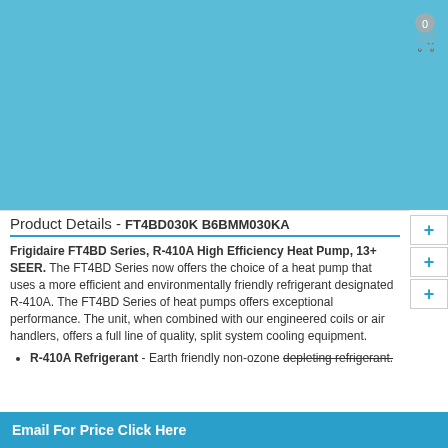[Figure (screenshot): Light blue product image header area for e-commerce page]
Product Details - FT4BD030K B6BMM030KA
Frigidaire FT4BD Series, R-410A High Efficiency Heat Pump, 13+ SEER. The FT4BD Series now offers the choice of a heat pump that uses a more efficient and environmentally friendly refrigerant designated R-410A. The FT4BD Series of heat pumps offers exceptional performance. The unit, when combined with our engineered coils or air handlers, offers a full line of quality, split system cooling equipment.
R-410A Refrigerant - Earth friendly non-ozone depleting refrigerant.
Email For Price Click Here